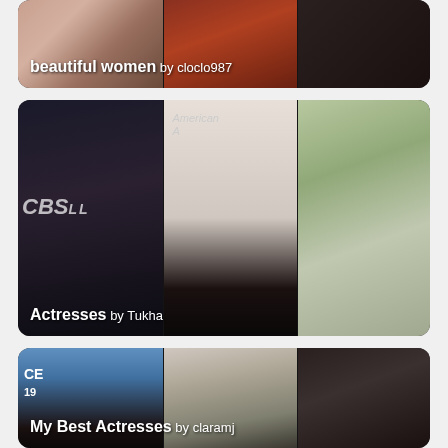[Figure (photo): Card 1: 'beautiful women by cloclo987' - collage of three women photos with label overlay]
[Figure (photo): Card 2: 'Actresses by Tukha' - collage of three actress photos including Charlize Theron, Catherine Zeta-Jones, and Cate Blanchett]
[Figure (photo): Card 3: 'My Best Actresses by claramj' - collage of three actress photos]